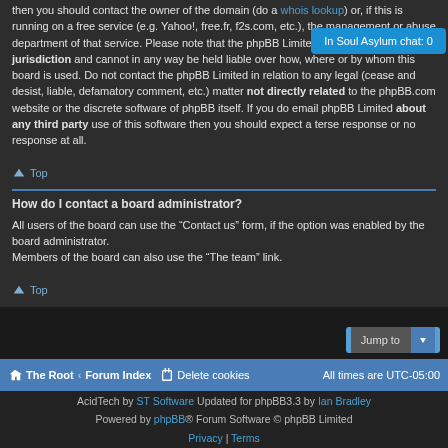then you should contact the owner of the domain (do a whois lookup) or, if this is running on a free service (e.g. Yahoo!, free.fr, f2s.com, etc.), the management or abuse department of that service. Please note that the phpBB Limited has absolutely no jurisdiction and cannot in any way be held liable over how, where or by whom this board is used. Do not contact the phpBB Limited in relation to any legal (cease and desist, liable, defamatory comment, etc.) matter not directly related to the phpBB.com website or the discrete software of phpBB itself. If you do email phpBB Limited about any third party use of this software then you should expect a terse response or no response at all.
Top
How do I contact a board administrator?
All users of the board can use the “Contact us” form, if the option was enabled by the board administrator.
Members of the board can also use the “The team” link.
Top
The Root ‹ Forum Index | Delete cookies | All times are UTC-05:00
AcidTech by ST Software Updated for phpBB3.3 by Ian Bradley
Powered by phpBB® Forum Software © phpBB Limited
Privacy | Terms